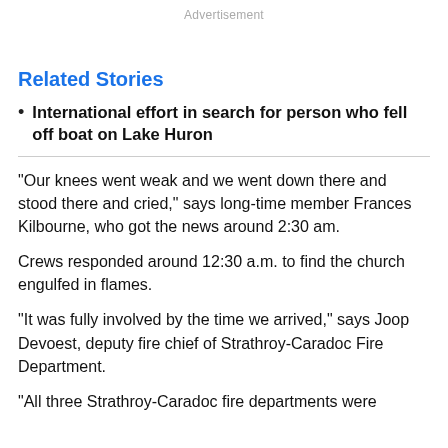Advertisement
Related Stories
International effort in search for person who fell off boat on Lake Huron
"Our knees went weak and we went down there and stood there and cried," says long-time member Frances Kilbourne, who got the news around 2:30 am.
Crews responded around 12:30 a.m. to find the church engulfed in flames.
"It was fully involved by the time we arrived," says Joop Devoest, deputy fire chief of Strathroy-Caradoc Fire Department.
"All three Strathroy-Caradoc fire departments were